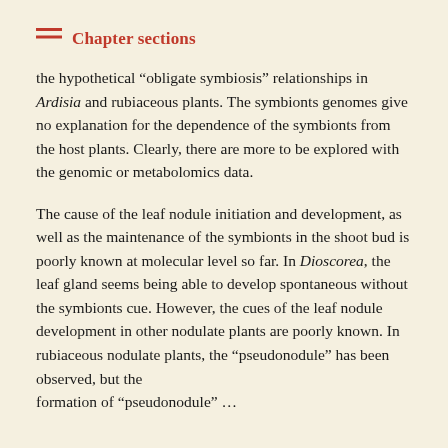Chapter sections
the hypothetical “obligate symbiosis” relationships in Ardisia and rubiaceous plants. The symbionts genomes give no explanation for the dependence of the symbionts from the host plants. Clearly, there are more to be explored with the genomic or metabolomics data.
The cause of the leaf nodule initiation and development, as well as the maintenance of the symbionts in the shoot bud is poorly known at molecular level so far. In Dioscorea, the leaf gland seems being able to develop spontaneous without the symbionts cue. However, the cues of the leaf nodule development in other nodulate plants are poorly known. In rubiaceous nodulate plants, the “pseudонодule” has been observed, but the formation of “pseudонодule”...